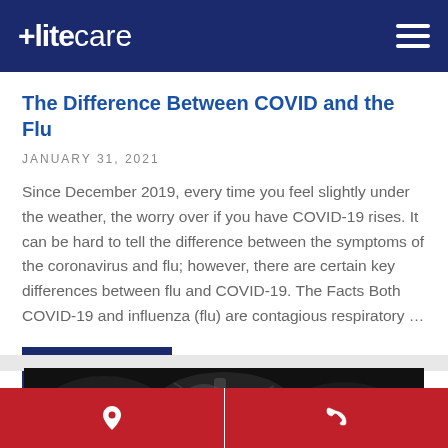Elitecare
The Difference Between COVID and the Flu
JANUARY 31, 2021
Since December 2019, every time you feel slightly under the weather, the worry over if you have COVID-19 rises. It can be hard to tell the difference between the symptoms of the coronavirus and flu; however, there are certain key differences between flu and COVID-19. The Facts Both COVID-19 and influenza (flu) are contagious respiratory …
Read more
[Figure (photo): X-ray image of abdominal/chest region, black and white medical radiograph]